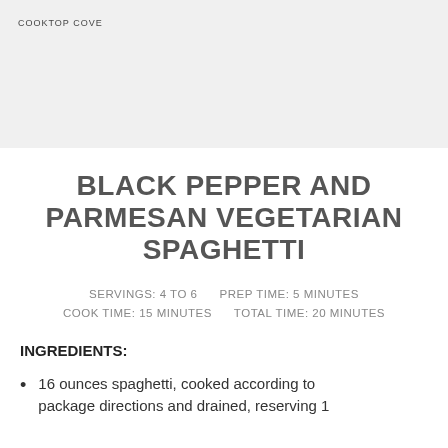COOKTOP COVE
BLACK PEPPER AND PARMESAN VEGETARIAN SPAGHETTI
SERVINGS: 4 TO 6    PREP TIME: 5 MINUTES    COOK TIME: 15 MINUTES    TOTAL TIME: 20 MINUTES
INGREDIENTS:
16 ounces spaghetti, cooked according to package directions and drained, reserving 1